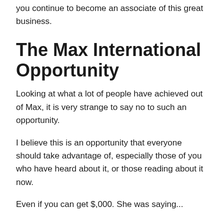you continue to become an associate of this great business.
The Max International Opportunity
Looking at what a lot of people have achieved out of Max, it is very strange to say no to such an opportunity.
I believe this is an opportunity that everyone should take advantage of, especially those of you who have heard about it, or those reading about it now.
Even if you can get $,000. She was saying...